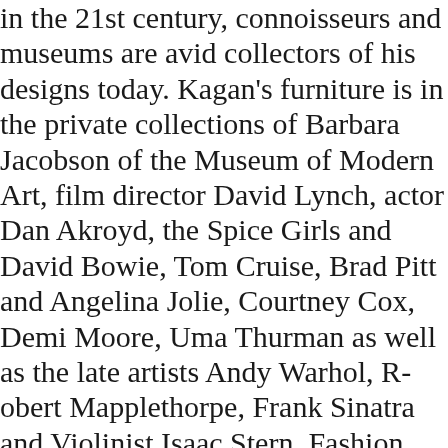in the 21st century, connoisseurs and museums are avid collectors of his designs today. Kagan's furniture is in the private collections of Barbara Jacobson of the Museum of Modern Art, film director David Lynch, actor Dan Akroyd, the Spice Girls and David Bowie, Tom Cruise, Brad Pitt and Angelina Jolie, Courtney Cox, Demi Moore, Uma Thurman as well as the late artists Andy Warhol, Robert Mapplethorpe, Frank Sinatra and Violinist Isaac Stern. Fashion designers Tom Ford, Donna Karan, Giorgio Armani, Joseph, Roberto Cavalli, and Anna Fendi, Barry Diller, Diane Von Furstenberg and many more are all Kagan collectors. His prize-winning designs have been published in books and magazines internationally and are in the permanent collections of the Boston Museum of Fine Arts, the V&A London, the Vitra Design Museum and Die Neue Samlu